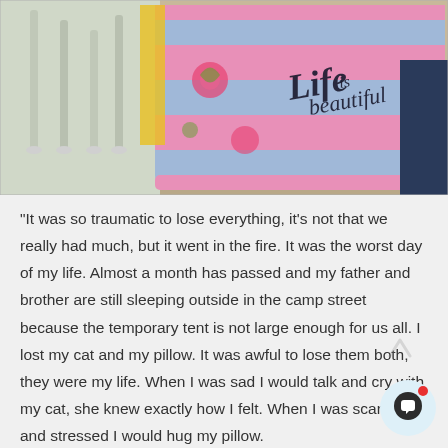[Figure (photo): Close-up photo of a blue and pink striped pillow/blanket with the cursive text 'Life is beautiful' written on it in black script. Crutches or chair legs are visible in the background on a wooden floor.]
“It was so traumatic to lose everything, it’s not that we really had much, but it went in the fire. It was the worst day of my life. Almost a month has passed and my father and brother are still sleeping outside in the camp street because the temporary tent is not large enough for us all. I lost my cat and my pillow. It was awful to lose them both, they were my life. When I was sad I would talk and cry with my cat, she knew exactly how I felt. When I was scared and stressed I would hug my pillow.